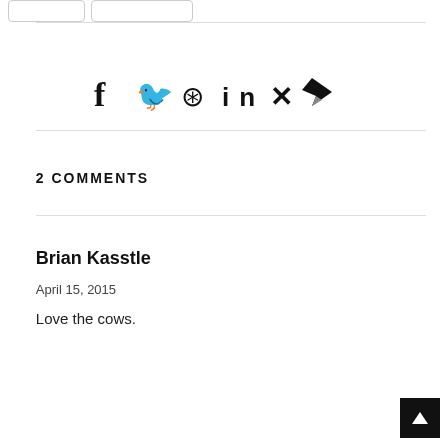[Figure (other): Two small rounded-rectangle button outlines at top left]
[Figure (infographic): Row of social sharing icons: Facebook (f), Twitter (bird), Pinterest (p), LinkedIn (in), Xing (x), Telegram (paper plane)]
2 COMMENTS
Brian Kasstle
April 15, 2015
Love the cows.